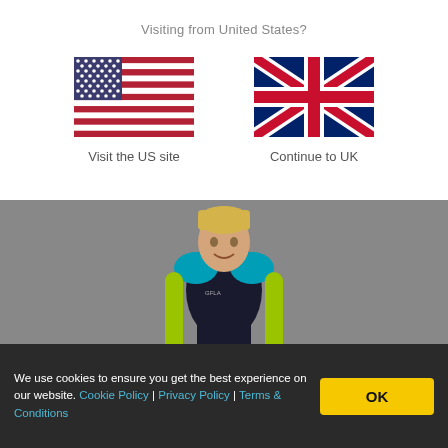Visiting from United States?
[Figure (illustration): US flag SVG]
Visit the US site
[Figure (illustration): UK flag SVG]
Continue to UK
[Figure (photo): Child wearing a black, teal and lime green wetsuit, standing against a grey background]
We use cookies to ensure you get the best experience on our website. Cookie Policy | Privacy Policy | Terms & Conditions